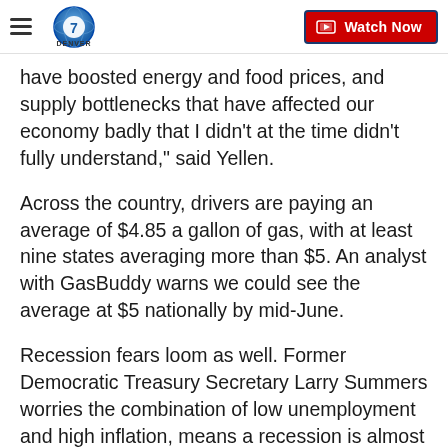Denver 7 — Watch Now
have boosted energy and food prices, and supply bottlenecks that have affected our economy badly that I didn't at the time didn't fully understand," said Yellen.
Across the country, drivers are paying an average of $4.85 a gallon of gas, with at least nine states averaging more than $5. An analyst with GasBuddy warns we could see the average at $5 nationally by mid-June.
Recession fears loom as well. Former Democratic Treasury Secretary Larry Summers worries the combination of low unemployment and high inflation, means a recession is almost certain within the next two years.